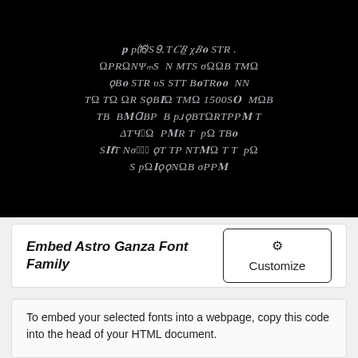[Figure (illustration): Black background preview panel showing decorative/alien-style font characters in gray-silver color, arranged in multiple lines of text]
Embed Astro Ganza Font Family
To embed your selected fonts into a webpage, copy this code into the head of your HTML document.